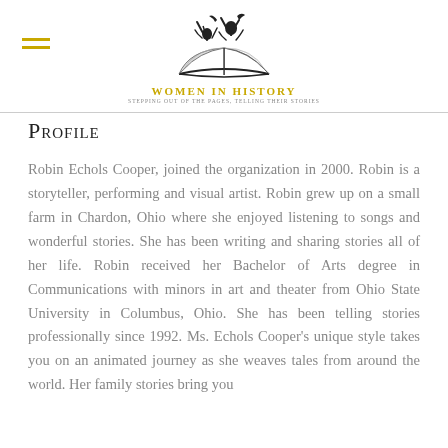Women in History — Stepping Out of the Pages, Telling Their Stories
Profile
Robin Echols Cooper, joined the organization in 2000. Robin is a storyteller, performing and visual artist. Robin grew up on a small farm in Chardon, Ohio where she enjoyed listening to songs and wonderful stories. She has been writing and sharing stories all of her life. Robin received her Bachelor of Arts degree in Communications with minors in art and theater from Ohio State University in Columbus, Ohio. She has been telling stories professionally since 1992. Ms. Echols Cooper's unique style takes you on an animated journey as she weaves tales from around the world. Her family stories bring you